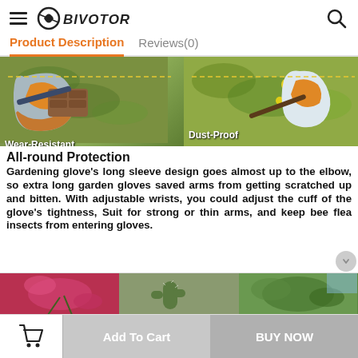BIVOTOR
Product Description | Reviews(0)
[Figure (photo): Two gardening gloves images side by side: left labeled Wear-Resistant showing gloves with brick, right labeled Dust-Proof showing glove in garden setting]
All-round Protection
Gardening glove's long sleeve design goes almost up to the elbow, so extra long garden gloves saved arms from getting scratched up and bitten. With adjustable wrists, you could adjust the cuff of the glove's tightness, Suit for strong or thin arms, and keep bee flea insects from entering gloves.
[Figure (photo): Three small product lifestyle images at bottom: red flowers/gloves, cactus plants, green leaves]
Add To Cart | BUY NOW